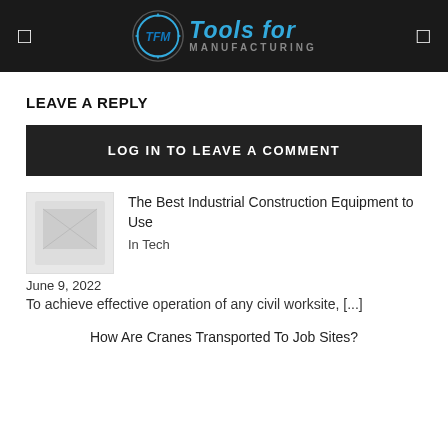Tools for Manufacturing
LEAVE A REPLY
LOG IN TO LEAVE A COMMENT
The Best Industrial Construction Equipment to Use
In Tech
June 9, 2022
To achieve effective operation of any civil worksite, [...]
How Are Cranes Transported To Job Sites?